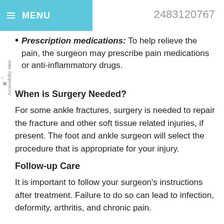≡ MENU   2483120767
Prescription medications: To help relieve the pain, the surgeon may prescribe pain medications or anti-inflammatory drugs.
When is Surgery Needed?
For some ankle fractures, surgery is needed to repair the fracture and other soft tissue related injuries, if present. The foot and ankle surgeon will select the procedure that is appropriate for your injury.
Follow-up Care
It is important to follow your surgeon's instructions after treatment. Failure to do so can lead to infection, deformity, arthritis, and chronic pain.